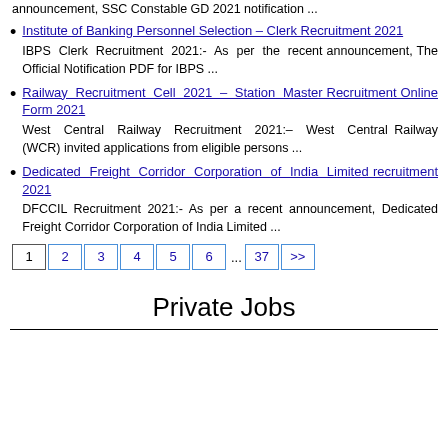announcement, SSC Constable GD 2021 notification ...
Institute of Banking Personnel Selection – Clerk Recruitment 2021
IBPS Clerk Recruitment 2021:- As per the recent announcement, The Official Notification PDF for IBPS ...
Railway Recruitment Cell 2021 – Station Master Recruitment Online Form 2021
West Central Railway Recruitment 2021:– West Central Railway (WCR) invited applications from eligible persons ...
Dedicated Freight Corridor Corporation of India Limited recruitment 2021
DFCCIL Recruitment 2021:- As per a recent announcement, Dedicated Freight Corridor Corporation of India Limited ...
1 2 3 4 5 6 ... 37 >>
Private Jobs